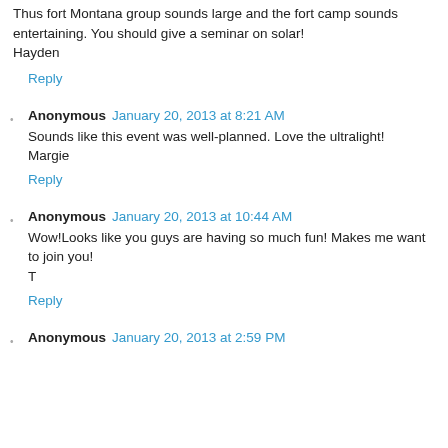Thus fort Montana group sounds large and the fort camp sounds entertaining. You should give a seminar on solar! Hayden
Reply
Anonymous  January 20, 2013 at 8:21 AM
Sounds like this event was well-planned. Love the ultralight! Margie
Reply
Anonymous  January 20, 2013 at 10:44 AM
Wow!Looks like you guys are having so much fun! Makes me want to join you! T
Reply
Anonymous  January 20, 2013 at 2:59 PM